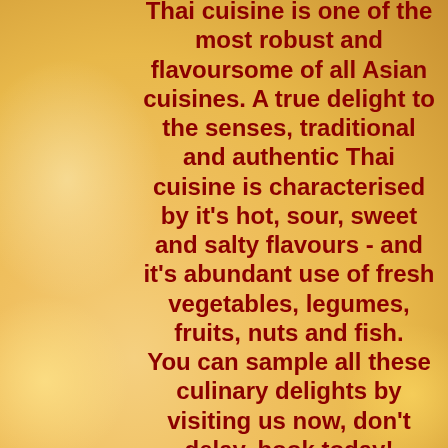Thai cuisine is one of the most robust and flavoursome of all Asian cuisines. A true delight to the senses, traditional and authentic Thai cuisine is characterised by it's hot, sour, sweet and salty flavours - and it's abundant use of fresh vegetables, legumes, fruits, nuts and fish. You can sample all these culinary delights by visiting us now, don't delay, book today!
OUR 3 course SPECIAL